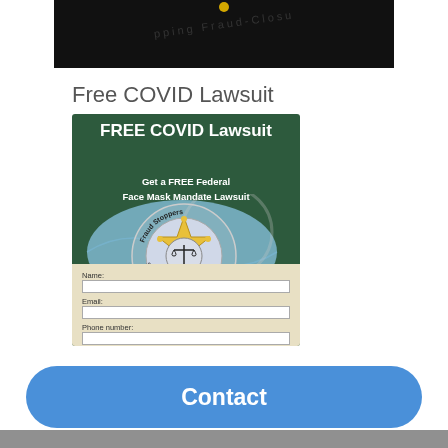[Figure (screenshot): Top cropped image showing dark background with faint circular text 'Stopping Fraud-Closures' and a yellow dot at top center]
Free COVID Lawsuit
[Figure (infographic): Green background flyer titled 'FREE COVID Lawsuit' with subtitle 'Get a FREE Federal Face Mask Mandate Lawsuit', featuring the Fraud Stoppers badge/logo (sheriff star with scales of justice inside a circular seal reading 'Fraud Stoppers' and 'Stopping Fraud-Closures'), overlaid on a blue surgical mask image, with a form below showing Name, Email, and Phone number fields on a tan background]
Contact